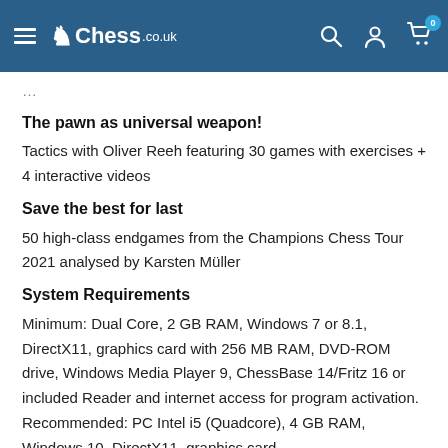Chess.co.uk
...
The pawn as universal weapon!
Tactics with Oliver Reeh featuring 30 games with exercises + 4 interactive videos
Save the best for last
50 high-class endgames from the Champions Chess Tour 2021 analysed by Karsten Müller
System Requirements
Minimum: Dual Core, 2 GB RAM, Windows 7 or 8.1, DirectX11, graphics card with 256 MB RAM, DVD-ROM drive, Windows Media Player 9, ChessBase 14/Fritz 16 or included Reader and internet access for program activation. Recommended: PC Intel i5 (Quadcore), 4 GB RAM, Windows 10, DirectX11, graphics card